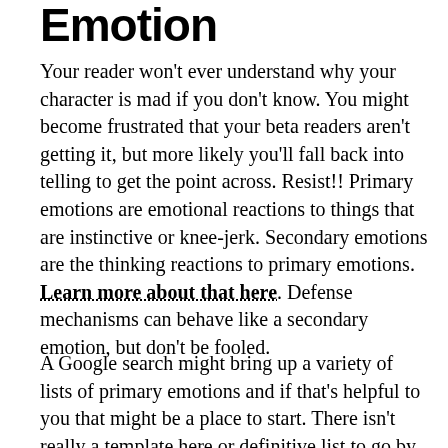Emotion
Your reader won't ever understand why your character is mad if you don't know. You might become frustrated that your beta readers aren't getting it, but more likely you'll fall back into telling to get the point across. Resist!! Primary emotions are emotional reactions to things that are instinctive or knee-jerk. Secondary emotions are the thinking reactions to primary emotions. Learn more about that here. Defense mechanisms can behave like a secondary emotion, but don't be fooled.
A Google search might bring up a variety of lists of primary emotions and if that's helpful to you that might be a place to start. There isn't really a template here or definitive list to go by to tell you if